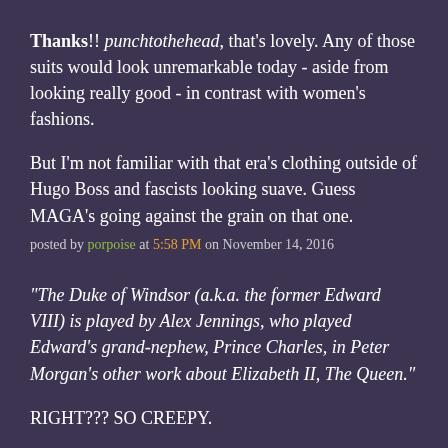Thanks!! punchtothehead, that's lovely. Any of those suits would look unremarkable today - aside from looking really good - in contrast with women's fashions.
But I'm not familiar with that era's clothing outside of Hugo Boss and fascists looking suave. Guess MAGA's going against the grain on that one.
posted by porpoise at 5:58 PM on November 14, 2016
"The Duke of Windsor (a.k.a. the former Edward VIII) is played by Alex Jennings, who played Edward's grand-nephew, Prince Charles, in Peter Morgan's other work about Elizabeth II, The Queen."
RIGHT??? SO CREEPY.